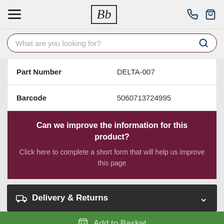Bb logo header with hamburger menu and phone/basket icons
What are you looking for?
|  |  |
| --- | --- |
| Part Number | DELTA-007 |
| Barcode | 5060713724995 |
Can we improve the information for this product? Click here to complete a short form that will help us improve this page
Delivery & Returns
Add to Basket